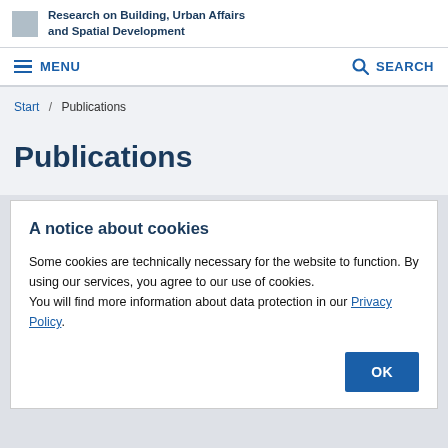Research on Building, Urban Affairs and Spatial Development
MENU   SEARCH
Start / Publications
Publications
A notice about cookies
Some cookies are technically necessary for the website to function. By using our services, you agree to our use of cookies.
You will find more information about data protection in our Privacy Policy.
OK